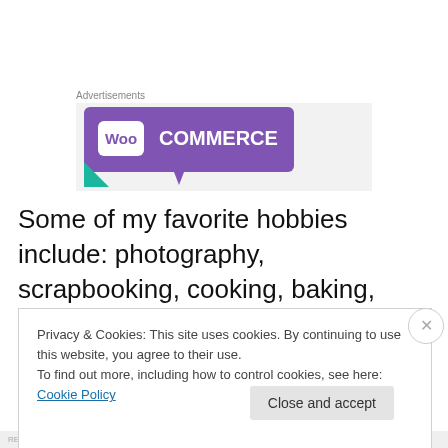Advertisements
[Figure (logo): WooCommerce advertisement banner with purple background and white WooCommerce logo]
Some of my favorite hobbies include: photography, scrapbooking, cooking, baking, singing karaoke, horseback riding, and anything that involves the outdoors!
Privacy & Cookies: This site uses cookies. By continuing to use this website, you agree to their use.
To find out more, including how to control cookies, see here: Cookie Policy
Close and accept